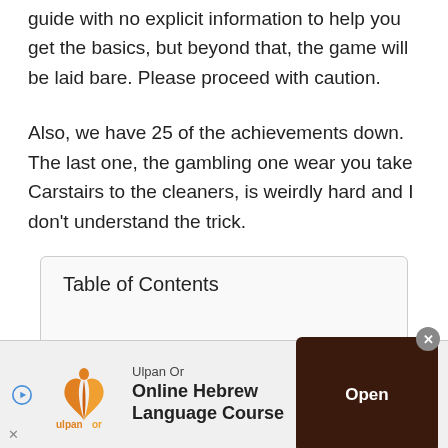guide with no explicit information to help you get the basics, but beyond that, the game will be laid bare. Please proceed with caution.
Also, we have 25 of the achievements down. The last one, the gambling one wear you take Carstairs to the cleaners, is weirdly hard and I don't understand the trick.
Table of Contents
[Figure (other): Advertisement banner for Ulpan Or Online Hebrew Language Course with logo, play button, and Open CTA button]